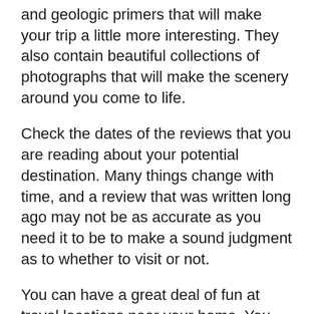and geologic primers that will make your trip a little more interesting. They also contain beautiful collections of photographs that will make the scenery around you come to life.
Check the dates of the reviews that you are reading about your potential destination. Many things change with time, and a review that was written long ago may not be as accurate as you need it to be to make a sound judgment as to whether to visit or not.
You can have a great deal of fun at travel locations near your home. You may enjoy yourself right around your home or in a neighboring state. Remaining in a local area will support the community and allow you to save your money. You may even find something really fun nearby that you had never known of.